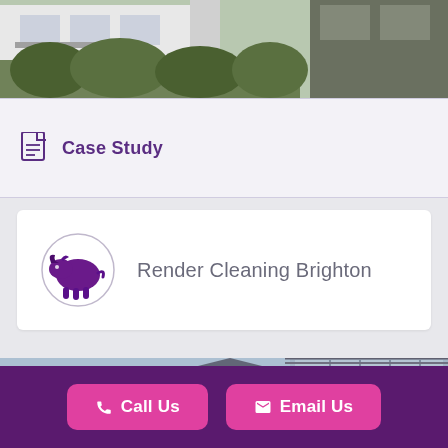[Figure (photo): Top portion of a multi-storey white residential building with balconies and green foliage]
Case Study
[Figure (logo): Rhino purple logo in a circle next to text 'Render Cleaning Brighton']
Render Cleaning Brighton
[Figure (photo): Modern building with render facade, brick lower section, and glass conservatory extension on top floor]
Call Us
Email Us